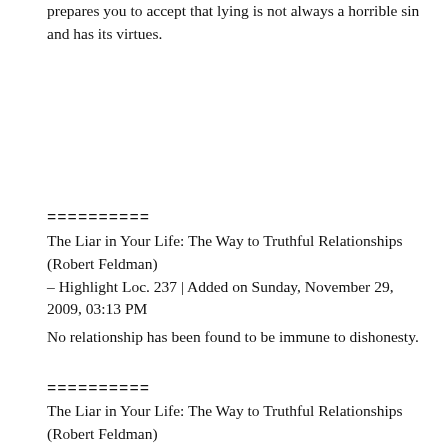prepares you to accept that lying is not always a horrible sin and has its virtues.
==========
The Liar in Your Life: The Way to Truthful Relationships (Robert Feldman)
– Highlight Loc. 237 | Added on Sunday, November 29, 2009, 03:13 PM
No relationship has been found to be immune to dishonesty.
==========
The Liar in Your Life: The Way to Truthful Relationships (Robert Feldman)